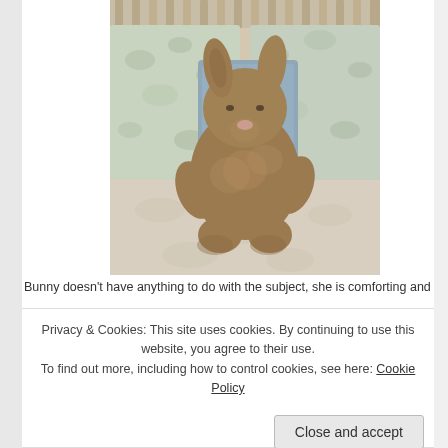[Figure (photo): A brown stuffed bunny rabbit toy sitting on a bed with floral/botanical patterned pillows and bedding. The bunny is fuzzy brown with floppy ears and a small pink nose.]
Bunny doesn't have anything to do with the subject, she is comforting and w
Privacy & Cookies: This site uses cookies. By continuing to use this website, you agree to their use. To find out more, including how to control cookies, see here: Cookie Policy